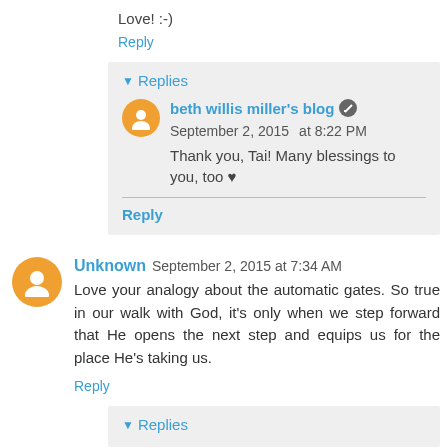Love! :-)
Reply
Replies
beth willis miller's blog   September 2, 2015 at 8:22 PM
Thank you, Tai! Many blessings to you, too ♥
Reply
Unknown   September 2, 2015 at 7:34 AM
Love your analogy about the automatic gates. So true in our walk with God, it's only when we step forward that He opens the next step and equips us for the place He's taking us.
Reply
Replies